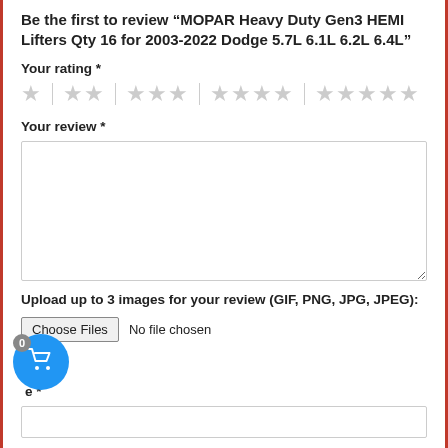Be the first to review “MOPAR Heavy Duty Gen3 HEMI Lifters Qty 16 for 2003-2022 Dodge 5.7L 6.1L 6.2L 6.4L”
Your rating *
[Figure (other): Star rating selector with 5 groups: 1 star, 2 stars, 3 stars, 4 stars, 5 stars — all shown as empty/grey stars with dividers between groups]
Your review *
[Figure (other): Empty textarea for writing a review]
Upload up to 3 images for your review (GIF, PNG, JPG, JPEG):
[Figure (other): File input: Choose Files button and 'No file chosen' label]
[Figure (other): Blue circular shopping cart button with count badge '0' in bottom-left corner]
e *
[Figure (other): Empty text input field for name]